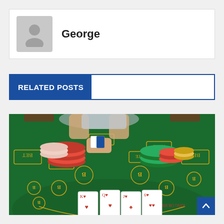George
RELATED POSTS
[Figure (photo): Overhead view of a casino card table with a dealer's hands shuffling cards. Green felt table with gold lettering (BET, ANTE) and poker chips in red, green, pink, and gold stacked on both sides. Playing cards laid out at the bottom showing face cards (kings, queens) and number cards. Text reads KING OR HIGHER along the bottom arc.]